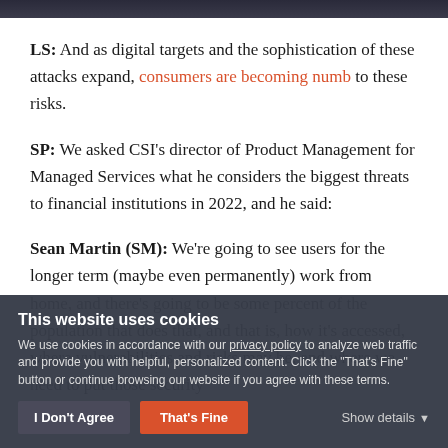LS: And as digital targets and the sophistication of these attacks expand, consumers are becoming numb to these risks.
SP: We asked CSI's director of Product Management for Managed Services what he considers the biggest threats to financial institutions in 2022, and he said:
Sean Martin (SM): We're going to see users for the longer term (maybe even permanently) work from home, and there's going to be some percent of the population that does that, and that is, how it's accessed, where vulnerabilities and risks may be, and where we need to put those security
This website uses cookies
We use cookies in accordance with our privacy policy to analyze web traffic and provide you with helpful, personalized content. Click the "That's Fine" button or continue browsing our website if you agree with these terms.